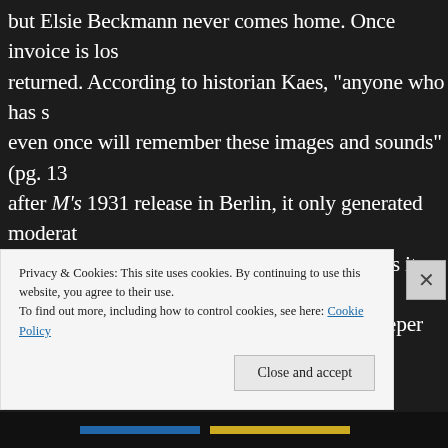but Elsie Beckmann never comes home. Once invoice is los returned. According to historian Kaes, "anyone who has s even once will remember these images and sounds" (pg. 13 after M's 1931 release in Berlin, it only generated moderat wasn't a major blockbuster for its time, what is it about M pay attention today, what draws us to look deeper into the Kaes, we need look no further than our own newspapers, serial killers, mass murderers, and school shootings...yet war into the cities" (pg.138) and so forth. Besides our obse to look outside the media and provokes the introspective killers naturally born, or are they a product of their envir historical events and culture shape and motivate murder
Privacy & Cookies: This site uses cookies. By continuing to use this website, you agree to their use.
To find out more, including how to control cookies, see here: Cookie Policy
Close and accept